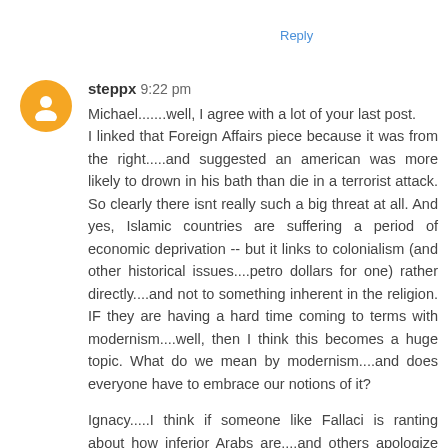Reply
steppx 9:22 pm
Michael.......well, I agree with a lot of your last post. I linked that Foreign Affairs piece because it was from the right.....and suggested an american was more likely to drown in his bath than die in a terrorist attack. So clearly there isnt really such a big threat at all. And yes, Islamic countries are suffering a period of economic deprivation -- but it links to colonialism (and other historical issues....petro dollars for one) rather directly....and not to something inherent in the religion. IF they are having a hard time coming to terms with modernism....well, then I think this becomes a huge topic. What do we mean by modernism....and does everyone have to embrace our notions of it?

Ignacy.....I think if someone like Fallaci is ranting about how inferior Arabs are....and others apologize for her (or the Pope -- and I mean, puh-leeze...read the last section of the Guardian article for choice Benedict quotes) then they